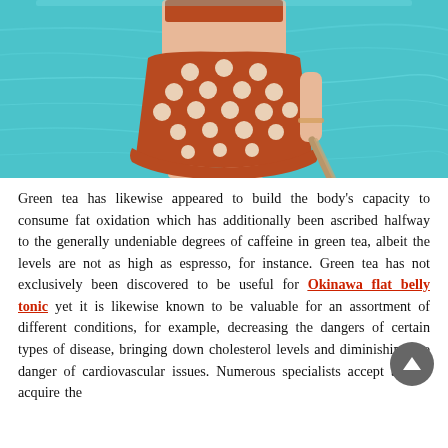[Figure (photo): Photo of a woman's torso and legs wearing a rust-red polka dot skirt/shorts and a matching bikini top, standing in front of a turquoise swimming pool, holding a woven bag.]
Green tea has likewise appeared to build the body's capacity to consume fat oxidation which has additionally been ascribed halfway to the generally undeniable degrees of caffeine in green tea, albeit the levels are not as high as espresso, for instance. Green tea has not exclusively been discovered to be useful for Okinawa flat belly tonic yet it is likewise known to be valuable for an assortment of different conditions, for example, decreasing the dangers of certain types of disease, bringing down cholesterol levels and diminishing the danger of cardiovascular issues. Numerous specialists accept that to acquire the